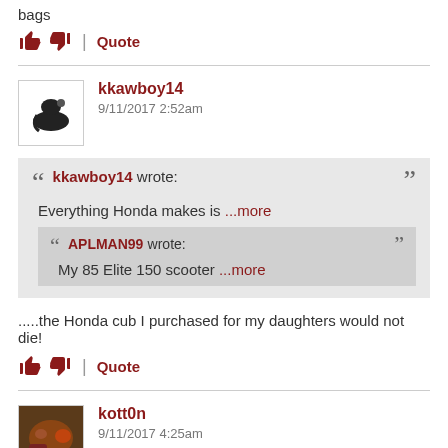bags
👍 👎 | Quote
kkawboy14
9/11/2017 2:52am
kkawboy14 wrote:
Everything Honda makes is ...more

APLMAN99 wrote:
My 85 Elite 150 scooter ...more
.....the Honda cub I purchased for my daughters would not die!
👍 👎 | Quote
kott0n
9/11/2017 4:25am
People swap 2 stroke motors into them. That's what makes them